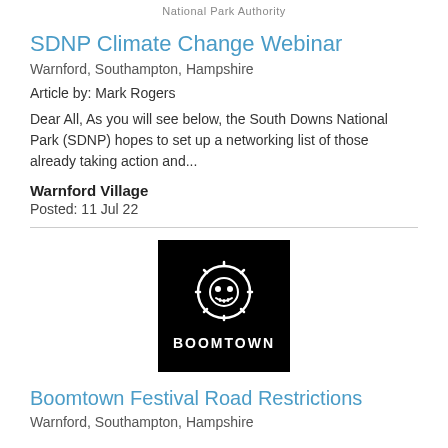National Park Authority
SDNP Climate Change Webinar
Warnford, Southampton, Hampshire
Article by: Mark Rogers
Dear All, As you will see below, the South Downs National Park (SDNP) hopes to set up a networking list of those already taking action and...
Warnford Village
Posted: 11 Jul 22
[Figure (logo): Boomtown festival logo: black square with white circular sun/skull icon and BOOMTOWN text in white]
Boomtown Festival Road Restrictions
Warnford, Southampton, Hampshire